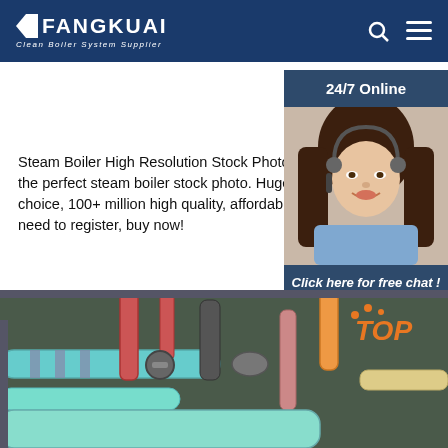FANGKUAI - Clean Boiler System Supplier
Steam Boiler High Resolution Stock Photography Find the perfect steam boiler stock photo. Huge amazing choice, 100+ million high quality, affordable images. No need to register, buy now!
Get Price
[Figure (photo): Customer service representative woman with headset smiling, sidebar widget with '24/7 Online' header, 'Click here for free chat!' text, and QUOTATION button]
[Figure (photo): Industrial boiler pipe system with colorful pipes, valves and fittings in a boiler room. TOP badge visible in top right corner.]